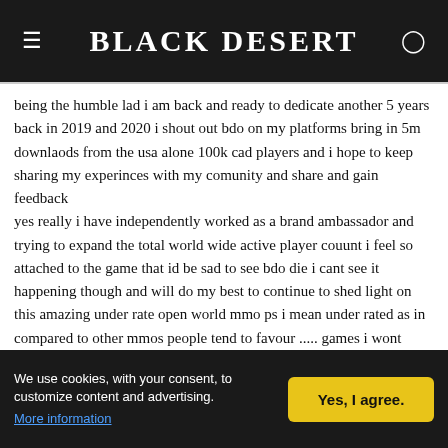Black Desert
being the humble lad i am back and ready to dedicate another 5 years back in 2019 and 2020 i shout out bdo on my platforms bring in 5m downlaods from the usa alone 100k cad players and i hope to keep sharing my experinces with my comunity and share and gain feedback yes really i have independently worked as a brand ambassador and trying to expand the total world wide active player couunt i feel so attached to the game that id be sad to see bdo die i cant see it happening though and will do my best to continue to shed light on this amazing under rate open world mmo ps i mean under rated as in compared to other mmos people tend to favour ..... games i wont mention cuz f them bdo only haha but this stigma is something i hope to break many people are intimidated by the vast game play
We use cookies, with your consent, to customize content and advertising. More information | Yes, I agree.